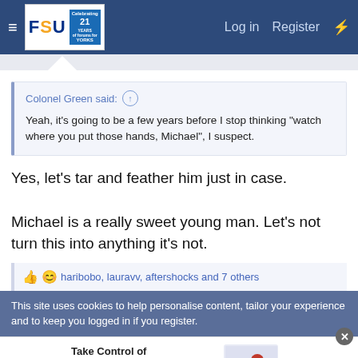FSU Forum — Log in  Register
Colonel Green said: ↑
Yeah, it's going to be a few years before I stop thinking "watch where you put those hands, Michael", I suspect.
Yes, let's tar and feather him just in case.

Michael is a really sweet young man. Let's not turn this into anything it's not.
👍 😊 haribobo, lauravv, aftershocks and 7 others
This site uses cookies to help personalise content, tailor your experience and to keep you logged in if you register.
[Figure (other): Quicken advertisement banner: Take Control of Your Finances. Plan for today and tomorrow with one solution to manage all your finances. BUY NOW button.]